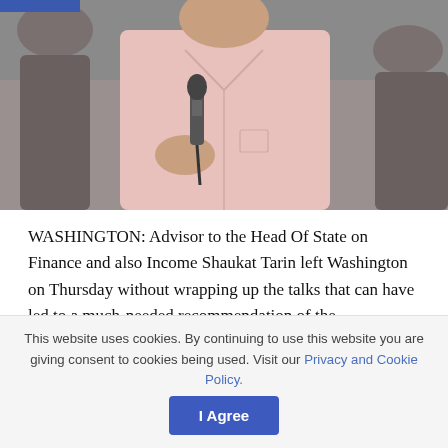[Figure (photo): A person in a pink shirt holding a microphone at what appears to be a press conference or official meeting.]
WASHINGTON: Advisor to the Head Of State on Finance and also Income Shaukat Tarin left Washington on Thursday without wrapping up the talks that can have led to a much-needed recommendation of the government's financial plans by the International Monetary Fund (IMF).
RELATED POSTS
This website uses cookies. By continuing to use this website you are giving consent to cookies being used. Visit our Privacy and Cookie Policy.